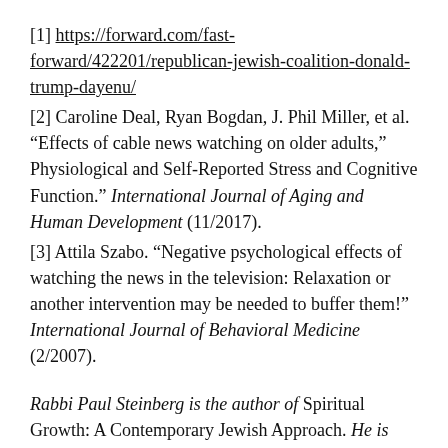[1] https://forward.com/fast-forward/422201/republican-jewish-coalition-donald-trump-dayenu/
[2] Caroline Deal, Ryan Bogdan, J. Phil Miller, et al. “Effects of cable news watching on older adults,” Physiological and Self-Reported Stress and Cognitive Function.” International Journal of Aging and Human Development (11/2017).
[3] Attila Szabo. “Negative psychological effects of watching the news in the television: Relaxation or another intervention may be needed to buffer them!” International Journal of Behavioral Medicine (2/2007).
Rabbi Paul Steinberg is the author of Spiritual Growth: A Contemporary Jewish Approach. He is also a leader in Jewish education and an expert on mental health and addiction issues in the Jewish community. His other books